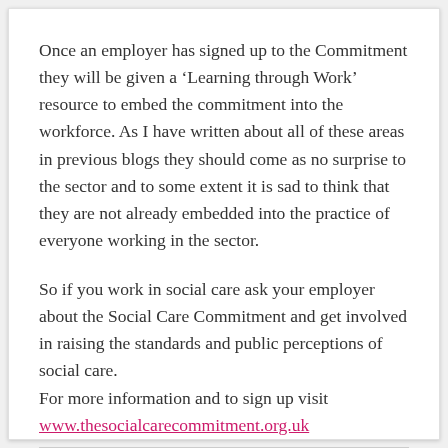Once an employer has signed up to the Commitment they will be given a ‘Learning through Work’ resource to embed the commitment into the workforce. As I have written about all of these areas in previous blogs they should come as no surprise to the sector and to some extent it is sad to think that they are not already embedded into the practice of everyone working in the sector.
So if you work in social care ask your employer about the Social Care Commitment and get involved in raising the standards and public perceptions of social care.
For more information and to sign up visit www.thesocialcarecommitment.org.uk